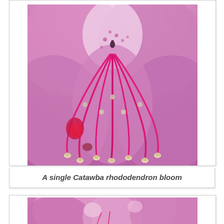[Figure (photo): Close-up macro photograph of a single Catawba rhododendron bloom showing pink/lavender petals and prominent pink stamens with small anther tips curving outward from the center]
A single Catawba rhododendron bloom
[Figure (photo): Partial view of a pink rhododendron bloom cluster with green foliage visible in the background, second figure cut off at bottom of page]